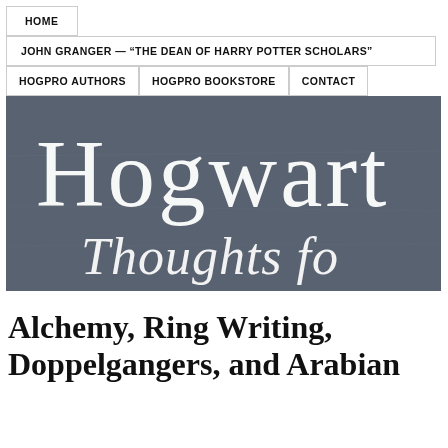HOME
JOHN GRANGER — “THE DEAN OF HARRY POTTER SCHOLARS”
HOGPRO AUTHORS | HOGPRO BOOKSTORE | CONTACT
[Figure (illustration): Dark grey chalkboard background with white decorative serif text reading 'Hogwart' (partially cropped) on the top line and 'Thoughts fo' (partially cropped) on the second line, in an ornate hand-lettered style.]
Alchemy, Ring Writing, Doppelgangers, and Arabian